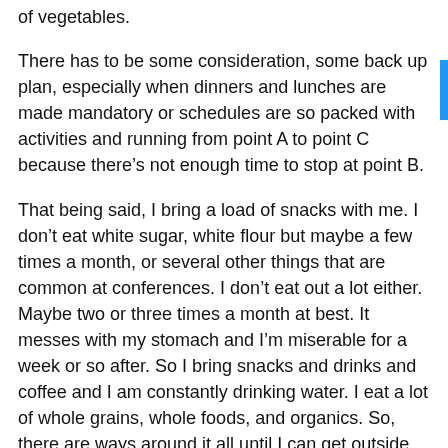of vegetables.
There has to be some consideration, some back up plan, especially when dinners and lunches are made mandatory or schedules are so packed with activities and running from point A to point C because there’s not enough time to stop at point B.
That being said, I bring a load of snacks with me. I don’t eat white sugar, white flour but maybe a few times a month, or several other things that are common at conferences. I don’t eat out a lot either. Maybe two or three times a month at best. It messes with my stomach and I’m miserable for a week or so after. So I bring snacks and drinks and coffee and I am constantly drinking water. I eat a lot of whole grains, whole foods, and organics. So, there are ways around it all until I can get outside and go to a restaurant where there are more choices.